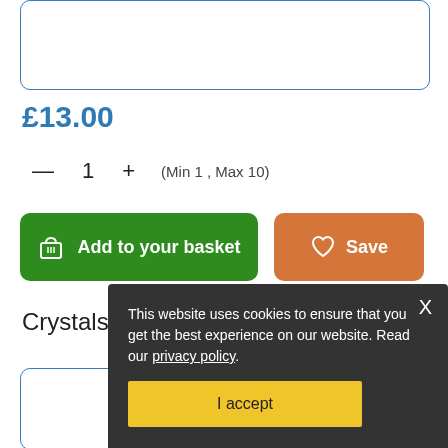[Figure (screenshot): Top bordered input/selection box (partial, top cropped)]
£13.00
— 1 + (Min 1 , Max 10)
Add to your basket
Save
Crystals to consider →
[Figure (screenshot): Bottom bordered product carousel box (partial)]
This website uses cookies to ensure that you get the best experience on our website. Read our privacy policy.
I accept